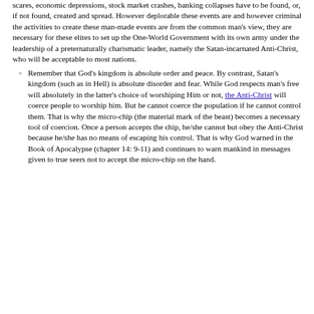scares, economic depressions, stock market crashes, banking collapses have to be found, or, if not found, created and spread. However deplorable these events are and however criminal the activities to create these man-made events are from the common man's view, they are necessary for these elites to set up the One-World Government with its own army under the leadership of a preternaturally charismatic leader, namely the Satan-incarnated Anti-Christ, who will be acceptable to most nations.
Remember that God's kingdom is absolute order and peace. By contrast, Satan's kingdom (such as in Hell) is absolute disorder and fear. While God respects man's free will absolutely in the latter's choice of worshiping Him or not, the Anti-Christ will coerce people to worship him. But he cannot coerce the population if he cannot control them. That is why the micro-chip (the material mark of the beast) becomes a necessary tool of coercion. Once a person accepts the chip, he/she cannot but obey the Anti-Christ because he/she has no means of escaping his control. That is why God warned in the Book of Apocalypse (chapter 14: 9-11) and continues to warn mankind in messages given to true seers not to accept the micro-chip on the hand.